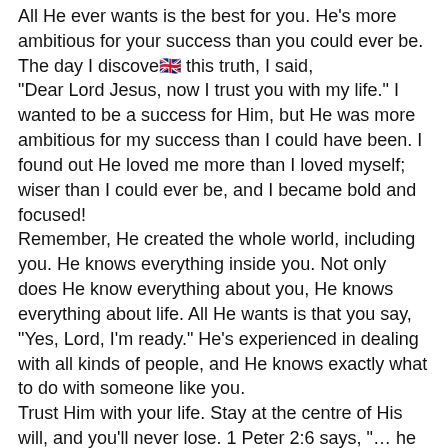All He ever wants is the best for you. He's more ambitious for your success than you could ever be. The day I discovered this truth, I said, "Dear Lord Jesus, now I trust you with my life." I wanted to be a success for Him, but He was more ambitious for my success than I could have been. I found out He loved me more than I loved myself; wiser than I could ever be, and I became bold and focused!
Remember, He created the whole world, including you. He knows everything inside you. Not only does He know everything about you, He knows everything about life. All He wants is that you say, "Yes, Lord, I'm ready." He's experienced in dealing with all kinds of people, and He knows exactly what to do with someone like you.
Trust Him with your life. Stay at the centre of His will, and you'll never lose. 1 Peter 2:6 says, "… he that believeth on him shall not be confounded"; that means you'll never be disgraced or put to the blush for trusting in Him. Therefore, be confident in the Lord with all your